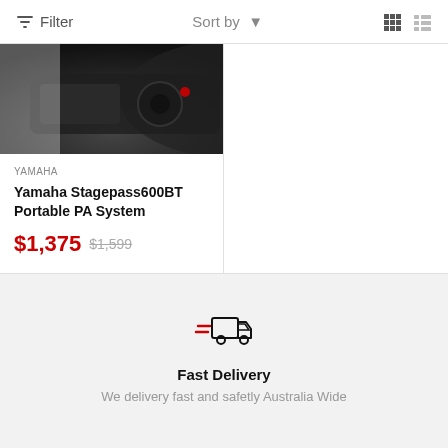Filter   Sort by   [grid view] [list view]
[Figure (photo): Partial product image of Yamaha Stagepass600BT Portable PA System — dark audio equipment visible in upper left quadrant]
YAMAHA
Yamaha Stagepass600BT Portable PA System
$1,375  $1,599
[Figure (illustration): Fast delivery truck icon with speed lines, in red and black outline style]
Fast Delivery
We delivery fast and safetly Australia Wide